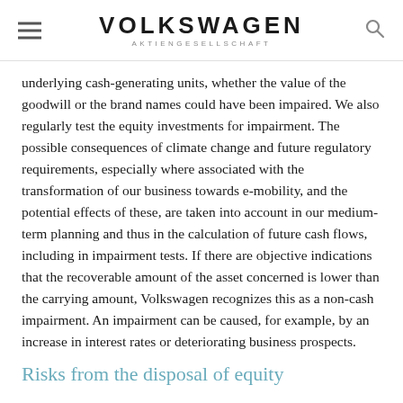VOLKSWAGEN AKTIENGESELLSCHAFT
underlying cash-generating units, whether the value of the goodwill or the brand names could have been impaired. We also regularly test the equity investments for impairment. The possible consequences of climate change and future regulatory requirements, especially where associated with the transformation of our business towards e-mobility, and the potential effects of these, are taken into account in our medium-term planning and thus in the calculation of future cash flows, including in impairment tests. If there are objective indications that the recoverable amount of the asset concerned is lower than the carrying amount, Volkswagen recognizes this as a non-cash impairment. An impairment can be caused, for example, by an increase in interest rates or deteriorating business prospects.
Risks from the disposal of equity